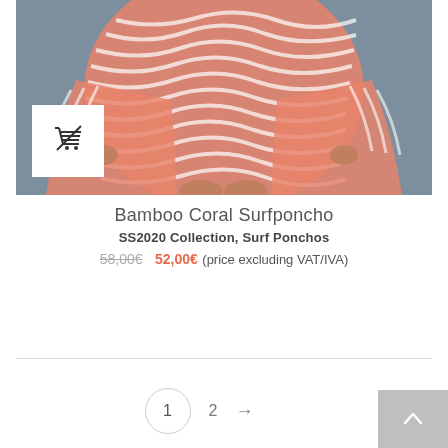[Figure (photo): Product photo of a coral/salmon colored bamboo surf poncho with white stripe pattern, modeled with person holding it open, shot against a gray background. A white cart icon box is overlaid on the lower left of the image.]
Bamboo Coral Surfponcho
SS2020 Collection, Surf Ponchos
58,00€ 52,00€ (price excluding VAT/IVA)